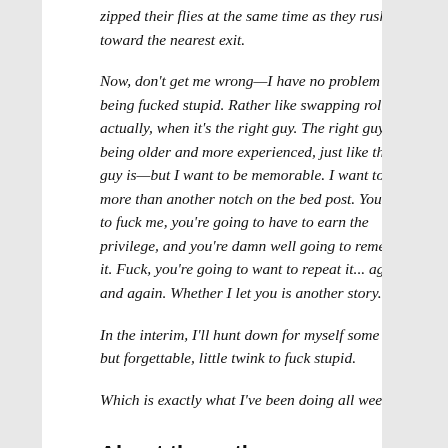zipped their flies at the same time as they rush toward the nearest exit.
Now, don't get me wrong—I have no problem with being fucked stupid. Rather like swapping roles, actually, when it's the right guy. The right guy being older and more experienced, just like this guy is—but I want to be memorable. I want to be more than another notch on the bed post. You want to fuck me, you're going to have to earn the privilege, and you're damn well going to remember it. Fuck, you're going to want to repeat it... again and again. Whether I let you is another story....
In the interim, I'll hunt down for myself some cute, but forgettable, little twink to fuck stupid.
Which is exactly what I've been doing all week...
About the author: